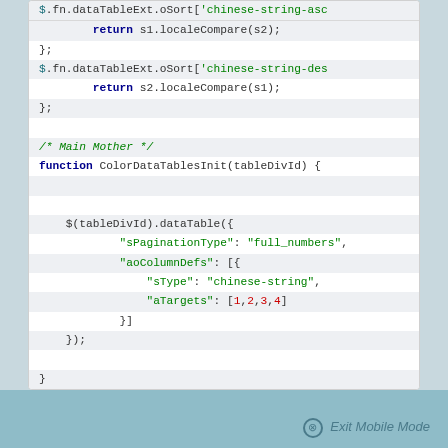$.fn.dataTableExt.oSort['chinese-string-asc ...  return s1.localeCompare(s2); }; $.fn.dataTableExt.oSort['chinese-string-des ...  return s2.localeCompare(s1); }; /* Main Mother */  function ColorDataTablesInit(tableDivId) {      $(tableDivId).dataTable({         "sPaginationType": "full_numbers",         "aoColumnDefs": [{             "sType": "chinese-string",             "aTargets": [1,2,3,4]         }]     }); }
Exit Mobile Mode